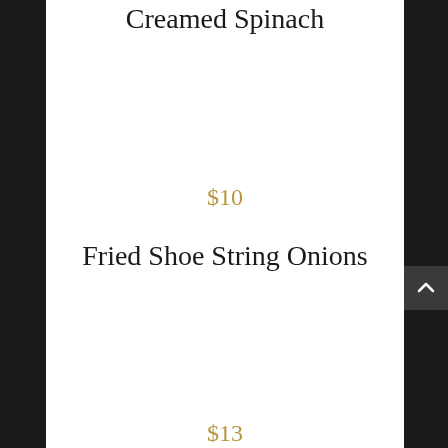Creamed Spinach
$10
Fried Shoe String Onions
$13
Sauteed Mushrooms